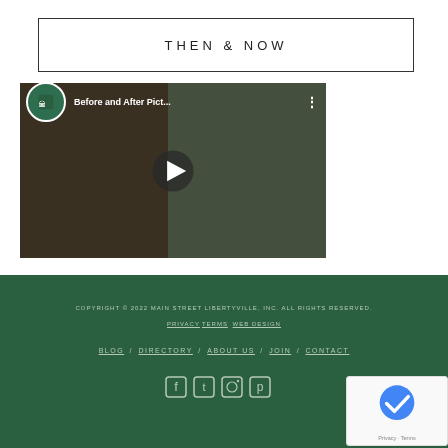THEN & NOW
[Figure (screenshot): YouTube video thumbnail showing 'Before and After Pict...' with Libertyville Main Street logo and play button overlay on historical street photos]
COPYRIGHT © 2022 MAIN STREET LIBERTYVILLE, INC. ALL RIGHTS RESERVED. PRIVACY TERMS WEB DESIGN
BLOG / DIRECTORY / ABOUT US / JOIN / CONTACT
[Figure (other): Social media icons: Facebook, Twitter, Instagram, Pinterest]
[Figure (other): reCAPTCHA widget - Privacy · Terms]